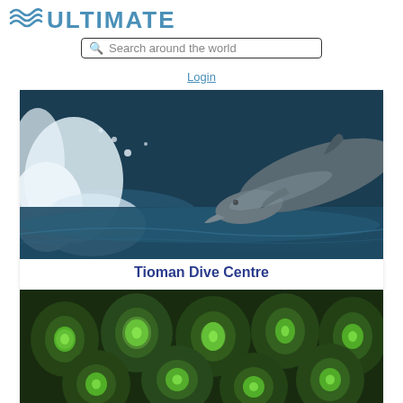ULTIMATE
Search around the world
Login
[Figure (photo): A dolphin leaping out of the ocean water with white sea spray around it]
Tioman Dive Centre
[Figure (photo): Close-up of green glowing coral polyps with bright neon green centers on a dark textured background]